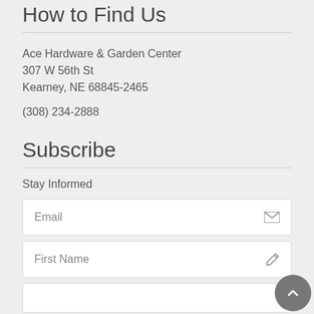How to Find Us
Ace Hardware & Garden Center
307 W 56th St
Kearney, NE 68845-2465
(308) 234-2888
Subscribe
Stay Informed
Email
First Name